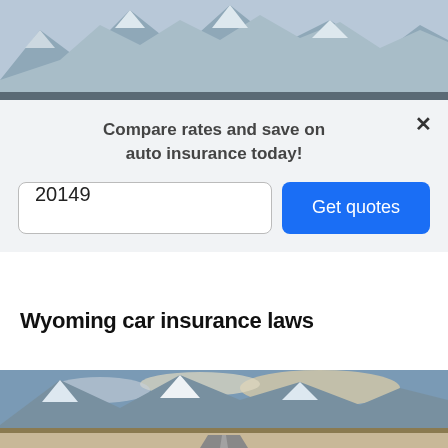[Figure (photo): Snowy mountain range landscape photo — top portion visible]
Compare rates and save on auto insurance today!
20149
Get quotes
Wyoming car insurance laws
[Figure (photo): Wyoming landscape photo showing snowy Grand Teton mountains, clouds, autumn trees, flat plains, and a road in the foreground]